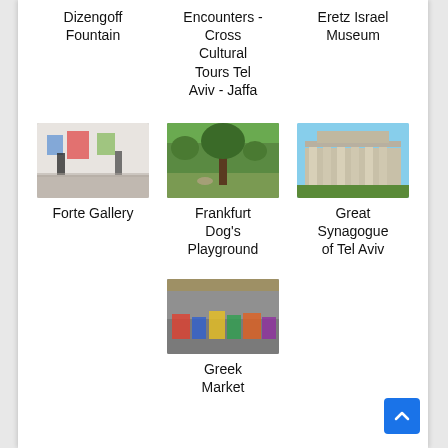Dizengoff Fountain
Encounters - Cross Cultural Tours Tel Aviv - Jaffa
Eretz Israel Museum
[Figure (photo): Interior of Forte Gallery showing artwork and sculptures]
Forte Gallery
[Figure (photo): Frankfurt Dog's Playground - green park area with tree]
Frankfurt Dog's Playground
[Figure (photo): Great Synagogue of Tel Aviv - stone columns and facade]
Great Synagogue of Tel Aviv
[Figure (photo): Greek Market outdoor stalls with colorful items]
Greek Market